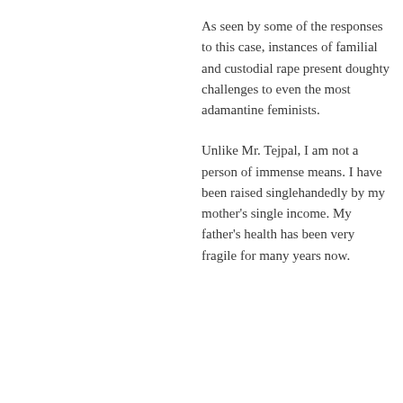As seen by some of the responses to this case, instances of familial and custodial rape present doughty challenges to even the most adamantine feminists.
Unlike Mr. Tejpal, I am not a person of immense means. I have been raised singlehandedly by my mother's single income. My father's health has been very fragile for many years now.